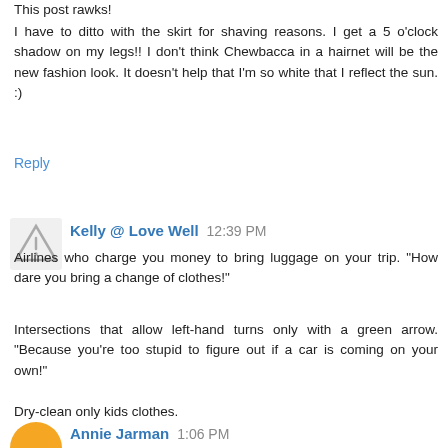This post rawks!
I have to ditto with the skirt for shaving reasons. I get a 5 o'clock shadow on my legs!! I don't think Chewbacca in a hairnet will be the new fashion look. It doesn't help that I'm so white that I reflect the sun. :)
Reply
Kelly @ Love Well  12:39 PM
Airlines who charge you money to bring luggage on your trip. "How dare you bring a change of clothes!"
Intersections that allow left-hand turns only with a green arrow. "Because you're too stupid to figure out if a car is coming on your own!"
Dry-clean only kids clothes.
Reply
Annie Jarman  1:06 PM